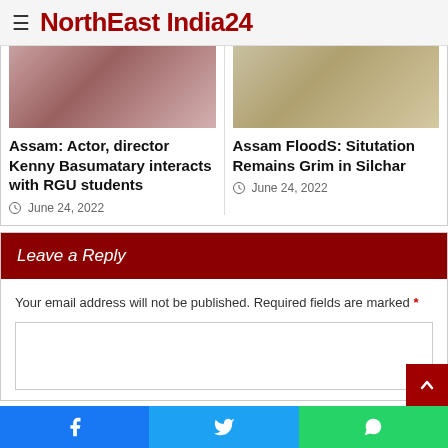NorthEast India24
Assam: Actor, director Kenny Basumatary interacts with RGU students
June 24, 2022
Assam FloodS: Situtation Remains Grim in Silchar
June 24, 2022
Leave a Reply
Your email address will not be published. Required fields are marked *